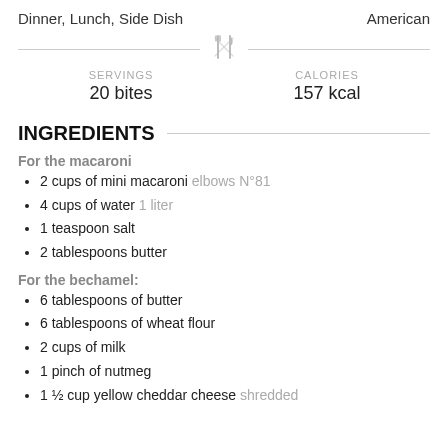Dinner, Lunch, Side Dish	American
[Figure (illustration): Fork and knife crossed icon (cutlery divider)]
SERVINGS
20 bites
CALORIES
157 kcal
INGREDIENTS
For the macaroni
2 cups of mini macaroni elbows N°81
4 cups of water 1 liter
1 teaspoon salt
2 tablespoons butter
For the bechamel:
6 tablespoons of butter
6 tablespoons of wheat flour
2 cups of milk
1 pinch of nutmeg
1 ½ cup yellow cheddar cheese shredded